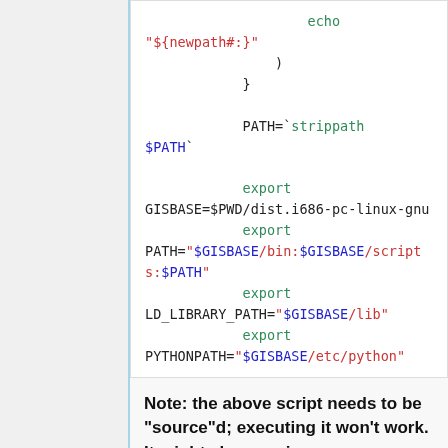[Figure (screenshot): Code block showing shell script with echo, PATH, export GISBASE, export PATH, export LD_LIBRARY_PATH, export PYTHONPATH commands with syntax highlighting]
Note: the above script needs to be "source"d; executing it won't work. It might also require some adjustments